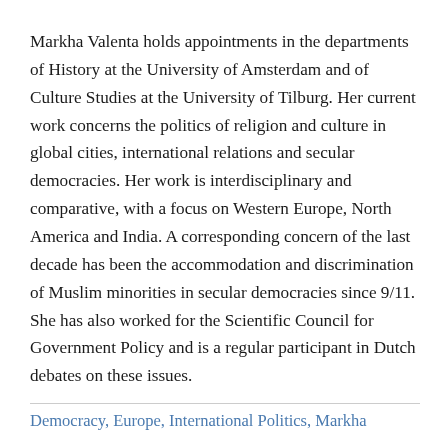Markha Valenta holds appointments in the departments of History at the University of Amsterdam and of Culture Studies at the University of Tilburg. Her current work concerns the politics of religion and culture in global cities, international relations and secular democracies. Her work is interdisciplinary and comparative, with a focus on Western Europe, North America and India. A corresponding concern of the last decade has been the accommodation and discrimination of Muslim minorities in secular democracies since 9/11. She has also worked for the Scientific Council for Government Policy and is a regular participant in Dutch debates on these issues.
Democracy, Europe, International Politics, Markha